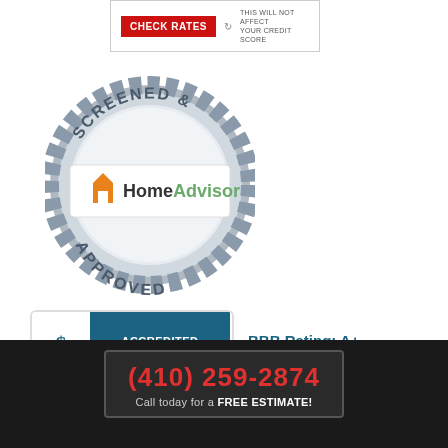[Figure (other): CHECK RATES button with red background and white text, with a refresh icon and text saying THIS WILL NOT AFFECT YOUR CREDIT SCORE]
[Figure (logo): HomeAdvisor Screened & Approved badge - circular silver badge with HomeAdvisor logo in center white rectangle]
[Figure (logo): BBB Accredited Business badge with teal background showing BBB symbol and ACCREDITED BUSINESS text]
BBB Rating: A+
As of 8/20/2022
Click for Profile
(410) 259-2874
Call today for a FREE ESTIMATE!